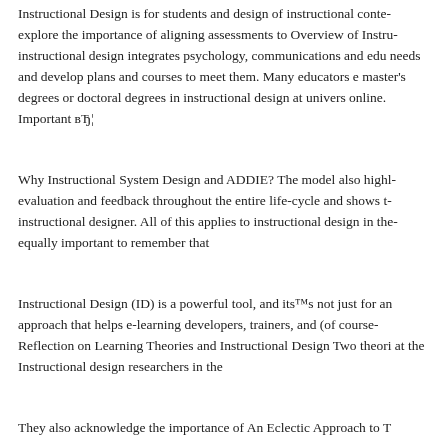Instructional Design is for students and design of instructional content explore the importance of aligning assessments to Overview of Instructional design integrates psychology, communications and education needs and develop plans and courses to meet them. Many educators earn master's degrees or doctoral degrees in instructional design at universities online. Important вЂ¦
Why Instructional System Design and ADDIE? The model also highlights evaluation and feedback throughout the entire life-cycle and shows the instructional designer. All of this applies to instructional design in the equally important to remember that
Instructional Design (ID) is a powerful tool, and its not just for an approach that helps e-learning developers, trainers, and (of course) Reflection on Learning Theories and Instructional Design Two theories at the Instructional design researchers in the
They also acknowledge the importance of An Eclectic Approach to T